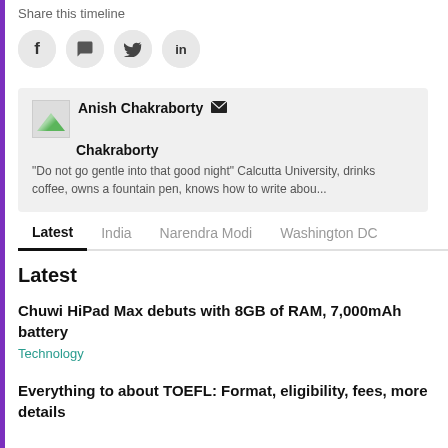Share this timeline
[Figure (infographic): Social sharing icons: Facebook (f), WhatsApp (chat bubble), Twitter (bird), LinkedIn (in) — each in a grey circle]
Anish Chakraborty [email icon]
Anish Chakraborty
"Do not go gentle into that good night" Calcutta University, drinks coffee, owns a fountain pen, knows how to write abou...
Latest  India  Narendra Modi  Washington DC
Latest
Chuwi HiPad Max debuts with 8GB of RAM, 7,000mAh battery
Technology
Everything to about TOEFL: Format, eligibility, fees, more details